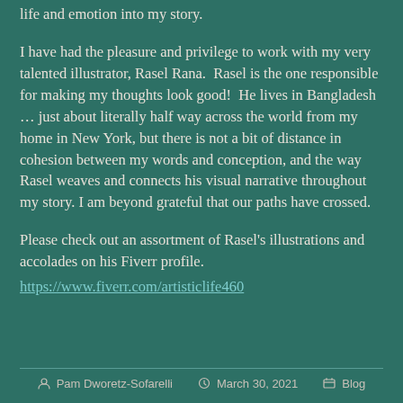life and emotion into my story.
I have had the pleasure and privilege to work with my very talented illustrator, Rasel Rana.  Rasel is the one responsible for making my thoughts look good!  He lives in Bangladesh … just about literally half way across the world from my home in New York, but there is not a bit of distance in cohesion between my words and conception, and the way Rasel weaves and connects his visual narrative throughout my story. I am beyond grateful that our paths have crossed.
Please check out an assortment of Rasel's illustrations and accolades on his Fiverr profile.
https://www.fiverr.com/artisticlife460
Pam Dworetz-Sofarelli   March 30, 2021   Blog